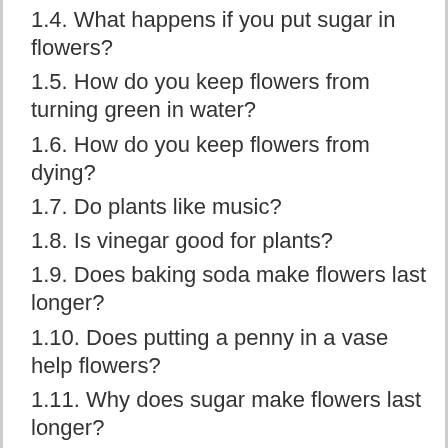1.4. What happens if you put sugar in flowers?
1.5. How do you keep flowers from turning green in water?
1.6. How do you keep flowers from dying?
1.7. Do plants like music?
1.8. Is vinegar good for plants?
1.9. Does baking soda make flowers last longer?
1.10. Does putting a penny in a vase help flowers?
1.11. Why does sugar make flowers last longer?
1.12. Should I put bleach in my flower water?
1.13. What kills flowers fast?
1.14. Should you put cut flowers in warm or cold water?
1.15. How do you keep a bouquet of